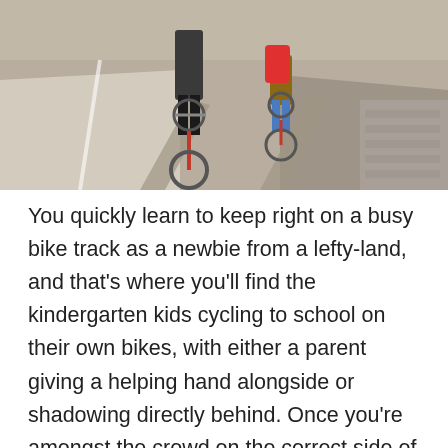[Figure (photo): Aerial/overhead view of an adult and a child cycling on a bike track. The adult is on a city bike and the child rides a smaller bike with a bright red/pink backpack. Shadows fall across a paved surface.]
You quickly learn to keep right on a busy bike track as a newbie from a lefty-land, and that's where you'll find the kindergarten kids cycling to school on their own bikes, with either a parent giving a helping hand alongside or shadowing directly behind. Once you're amongst the crowd on the correct side of the street, 'keep right!' isn't something you need to give any conscious thought to – you have the visual indicators of the pavement on one side and the road on the other. Pavement slow and objectively safe, road fast and subjectively scary, and within the bike track itself an effective gradient of increasing speed running out from the